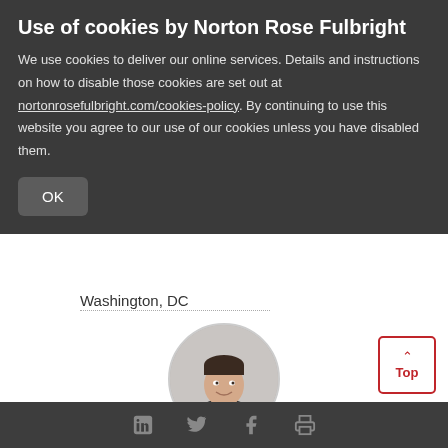Use of cookies by Norton Rose Fulbright
We use cookies to deliver our online services. Details and instructions on how to disable those cookies are set out at nortonrosefulbright.com/cookies-policy. By continuing to use this website you agree to our use of our cookies unless you have disabled them.
OK
Washington, DC
[Figure (photo): Circular headshot of Jay LeMoine, a man in a dark suit with a light tie, smiling, against a light background.]
Jay LeMoine
Partner, Canadian Head of